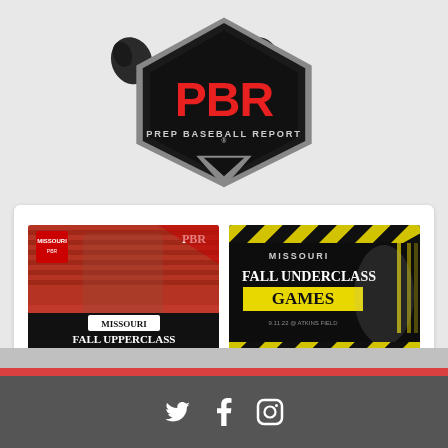[Figure (logo): Prep Baseball Report (PBR) logo — black pentagon/home-plate shield shape with red PBR letters and 'PREP BASEBALL REPORT' text below, with baseball glove graphics on either side]
[Figure (illustration): White card containing two event promotional thumbnails side by side. Left: Missouri Fall Upperclass Games, 9.11.22 @ Atkins Field — red/black design with pitcher photo. Right: Missouri Fall Underclass Games, 9.11.22 @ Atkins Field — black/yellow hazard-stripe design with pitcher photo.]
[Figure (illustration): Bottom dark gray section with red bar accent and dark charcoal footer area containing social media icons (Twitter, Facebook, Instagram)]